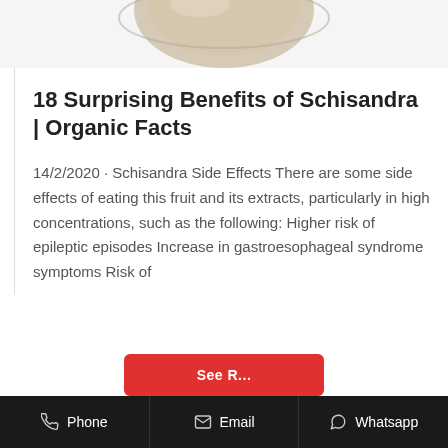[Figure (photo): Partial view of Schisandra fruit/berry image at the top of the page, cropped]
18 Surprising Benefits of Schisandra | Organic Facts
14/2/2020 · Schisandra Side Effects There are some side effects of eating this fruit and its extracts, particularly in high concentrations, such as the following: Higher risk of epileptic episodes Increase in gastroesophageal syndrome symptoms Risk of
Phone   Email   Whatsapp